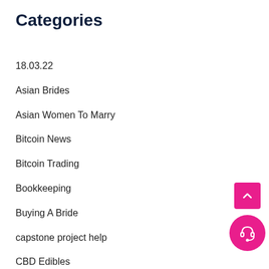Categories
18.03.22
Asian Brides
Asian Women To Marry
Bitcoin News
Bitcoin Trading
Bookkeeping
Buying A Bride
capstone project help
CBD Edibles
Cbd gummies 2022
Chinese Brides
coursework writing